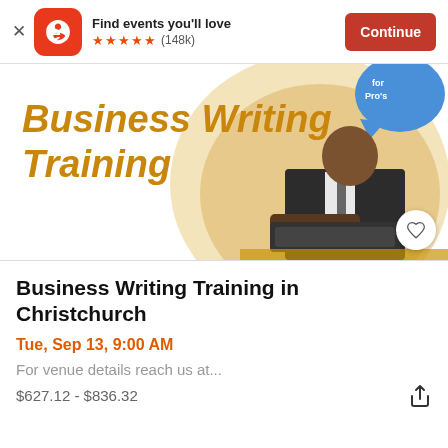Find events you'll love ★★★★★ (148k) Continue
[Figure (screenshot): Event listing image for Business Writing Training featuring bold orange/gold text 'Business Writing Training' on white background, a circle graphic with a man in suit at a computer keyboard, and 'for Pro's' text with blue speech bubble icon in top right corner.]
Business Writing Training in Christchurch
Tue, Sep 13, 9:00 AM
For venue details reach us at...
$627.12 - $836.32